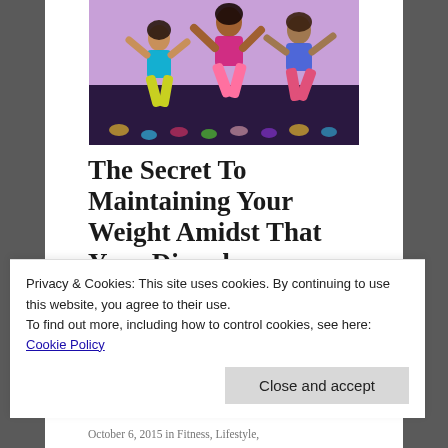[Figure (photo): Colorful group of women dancing/jumping energetically in a dance studio, wearing bright workout clothes]
The Secret To Maintaining Your Weight Amidst That Yoyo Disorder
By Danielella Djiogan If you read my previous
Privacy & Cookies: This site uses cookies. By continuing to use this website, you agree to their use.
To find out more, including how to control cookies, see here:
Cookie Policy
Close and accept
October 6, 2015 in Fitness, Lifestyle,